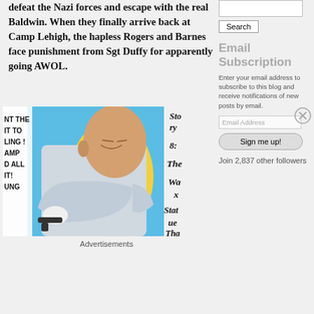defeat the Nazi forces and escape with the real Baldwin. When they finally arrive back at Camp Lehigh, the hapless Rogers and Barnes face punishment from Sgt Duffy for apparently going AWOL.
[Figure (illustration): Comic book panel showing a bald villain character in white clothing, holding a gun, with speech bubble text partially visible on the left side: 'NT THE IT TO LING! AMP D ALL IT! UNG'. Background has blue and yellow colors. Story text to the right reads: Story 8: The Wax Statue That...]
Advertisements
Story
8:
The
Wax
Statue
That
Email Subscription
Enter your email address to subscribe to this blog and receive notifications of new posts by email.
Join 2,837 other followers